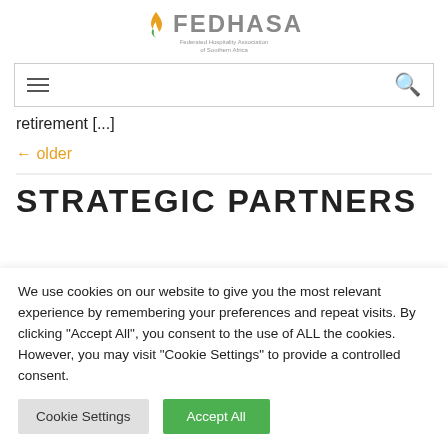[Figure (logo): FEDHASA logo with flame icon and tagline 'Federated Hospitality Association of Southern Africa']
[Figure (screenshot): Navigation bar with hamburger menu icon and orange search icon]
retirement [...]
← older
STRATEGIC PARTNERS
We use cookies on our website to give you the most relevant experience by remembering your preferences and repeat visits. By clicking "Accept All", you consent to the use of ALL the cookies. However, you may visit "Cookie Settings" to provide a controlled consent.